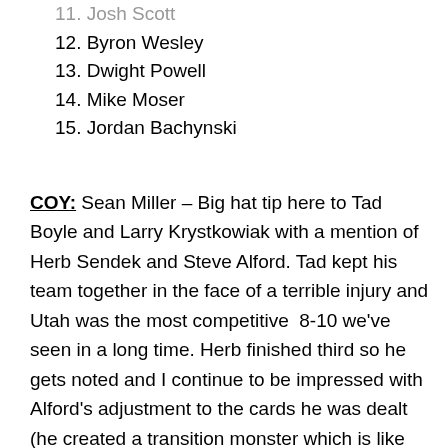11. Josh Scott
12. Byron Wesley
13. Dwight Powell
14. Mike Moser
15. Jordan Bachynski
COY: Sean Miller – Big hat tip here to Tad Boyle and Larry Krystkowiak with a mention of Herb Sendek and Steve Alford. Tad kept his team together in the face of a terrible injury and Utah was the most competitive 8-10 we've seen in a long time. Herb finished third so he gets noted and I continue to be impressed with Alford's adjustment to the cards he was dealt (he created a transition monster which is like no other team he's coached). But Miller wins my COY because, well, for most of the season the Wildcats were the best team in the country, they've continued to play fantastic defense (best in the country and easily the best in the conference), and he's reinvented his offense following the loss of Brandon Ashley for the season.